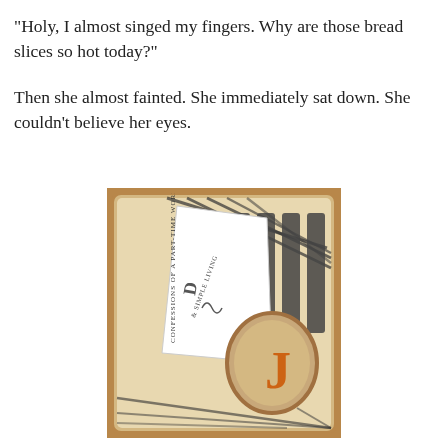"Holy, I almost singed my fingers. Why are those bread slices so hot today?"
Then she almost fainted. She immediately sat down. She couldn't believe her eyes.
[Figure (photo): A toaster with a slice of bread showing a letter 'J' branded/toasted on it in orange, inside a wooden-framed toaster. Text on the toaster reads 'CONFESSIONS OF A PART-TIME WORKING MOM' and '& SIMPLE LIVING'.]